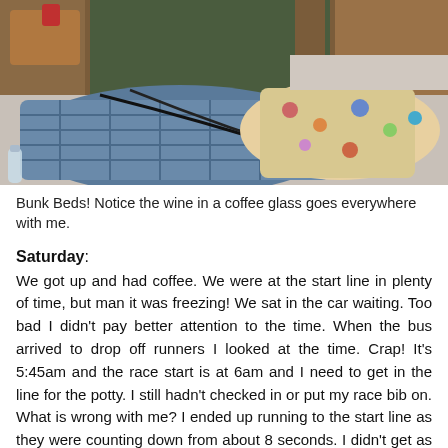[Figure (photo): Photo of bunk beds with colorful bedding and blankets piled on the lower bunk. A wooden nightstand is visible with a red cup/glass. A water bottle is on the floor. The setting appears to be a dormitory or hostel room.]
Bunk Beds! Notice the wine in a coffee glass goes everywhere with me.
Saturday:
We got up and had coffee. We were at the start line in plenty of time, but man it was freezing! We sat in the car waiting. Too bad I didn't pay better attention to the time. When the bus arrived to drop off runners I looked at the time. Crap! It's 5:45am and the race start is at 6am and I need to get in the line for the potty. I still hadn't checked in or put my race bib on. What is wrong with me? I ended up running to the start line as they were counting down from about 8 seconds. I didn't get as close to the start as I wanted. The start is in that twilight period where it isn't light but it isn't dark. I have a really hard time seeing during this period. I was okay with taking it a little slow. We start up Elden and I am telling myself to take it easy because I have to do this again. My stomach is